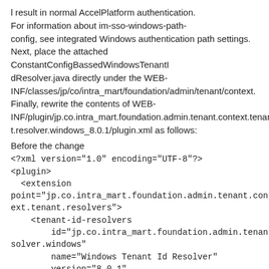l result in normal AccelPlatform authentication. For information about im-sso-windows-path-config, see integrated Windows authentication path settings. Next, place the attached ConstantConfigBassedWindowsTenantIdResolver.java directly under the WEB-INF/classes/jp/co/intra_mart/foundation/admin/tenant/context. Finally, rewrite the contents of WEB-INF/plugin/jp.co.intra_mart.foundation.admin.tenant.context.tenant.resolver.windows_8.0.1/plugin.xml as follows:
Before the change
<?xml version="1.0" encoding="UTF-8"?>
<plugin>
  <extension point="jp.co.intra_mart.foundation.admin.tenant.context.tenant.resolvers">
    <tenant-id-resolvers
        id="jp.co.intra_mart.foundation.admin.tenant.context.tenant.resolver.windows"
        name="Windows Tenant Id Resolver"
        version="8.0.1"